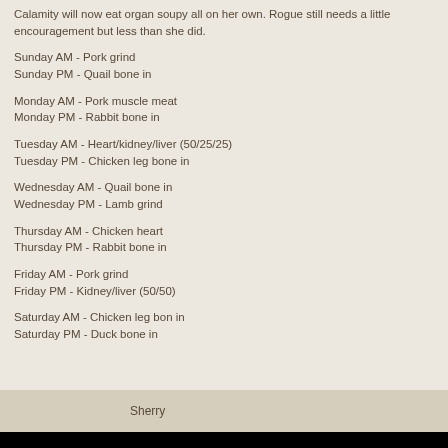Calamity will now eat organ soupy all on her own. Rogue still needs a little encouragement but less than she did.
Sunday AM - Pork grind
Sunday PM - Quail bone in
Monday AM - Pork muscle meat
Monday PM - Rabbit bone in
Tuesday AM - Heart/kidney/liver (50/25/25)
Tuesday PM - Chicken leg bone in
Wednesday AM - Quail bone in
Wednesday PM - Lamb grind
Thursday AM - Chicken heart
Thursday PM - Rabbit bone in
Friday AM - Pork grind
Friday PM - Kidney/liver (50/50)
Saturday AM - Chicken leg bon in
Saturday PM - Duck bone in
Sherry